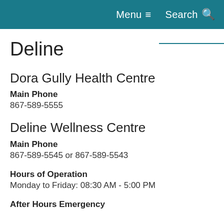Menu  Search
Deline
Dora Gully Health Centre
Main Phone
867-589-5555
Deline Wellness Centre
Main Phone
867-589-5545 or 867-589-5543
Hours of Operation
Monday to Friday: 08:30 AM - 5:00 PM
After Hours Emergency